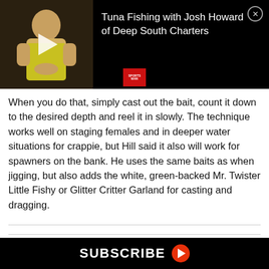[Figure (screenshot): Video thumbnail showing a man in a yellow shirt seated, with a white play button overlay. Title text reads 'Tuna Fishing with Josh Howard of Deep South Charters'. Black background with close (X) button. Sportsman logo badge visible.]
When you do that, simply cast out the bait, count it down to the desired depth and reel it in slowly. The technique works well on staging females and in deeper water situations for crappie, but Hill said it also will work for spawners on the bank. He uses the same baits as when jigging, but also adds the white, green-backed Mr. Twister Little Fishy or Glitter Critter Garland for casting and dragging.
[Figure (screenshot): SUBSCRIBE banner with play button on black background at bottom of page]